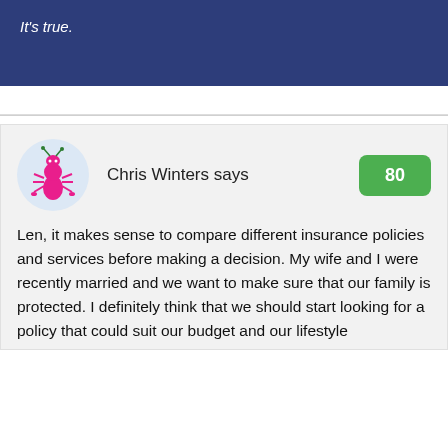It’s true.
Chris Winters says
80
Len, it makes sense to compare different insurance policies and services before making a decision. My wife and I were recently married and we want to make sure that our family is protected. I definitely think that we should start looking for a policy that could suit our budget and our lifestyle